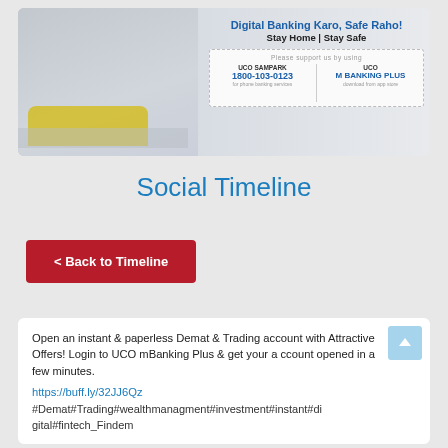[Figure (illustration): UCO Bank banner showing a woman sitting on a sofa using a phone and laptop. Text reads 'Digital Banking Karo, Safe Raho! Stay Home | Stay Safe'. Below is a support box with UCO SAMPARK 1800-103-0123 for phone banking services and UCO M BANKING PLUS download from app store.]
Social Timeline
< Back to Timeline
Open an instant & paperless Demat & Trading account with Attractive Offers! Login to UCO mBanking Plus & get your account opened in a few minutes.
https://buff.ly/32JJ6Qz
#Demat#Trading#wealthmanagment#investment#instant#digital#fintech_Findem